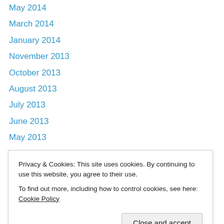May 2014
March 2014
January 2014
November 2013
October 2013
August 2013
July 2013
June 2013
May 2013
April 2013
February 2013
January 2013
December 2012
Privacy & Cookies: This site uses cookies. By continuing to use this website, you agree to their use. To find out more, including how to control cookies, see here: Cookie Policy
April 2012